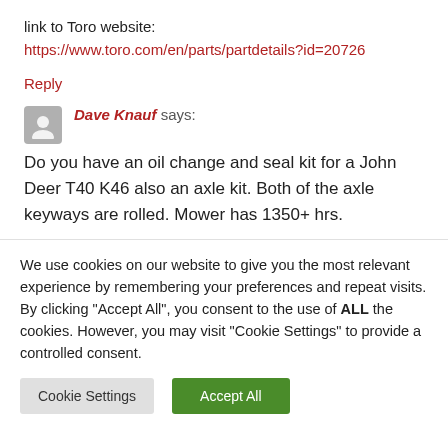link to Toro website:
https://www.toro.com/en/parts/partdetails?id=20726
Reply
Dave Knauf says:
Do you have an oil change and seal kit for a John Deer T40 K46 also an axle kit. Both of the axle keyways are rolled. Mower has 1350+ hrs.
We use cookies on our website to give you the most relevant experience by remembering your preferences and repeat visits. By clicking "Accept All", you consent to the use of ALL the cookies. However, you may visit "Cookie Settings" to provide a controlled consent.